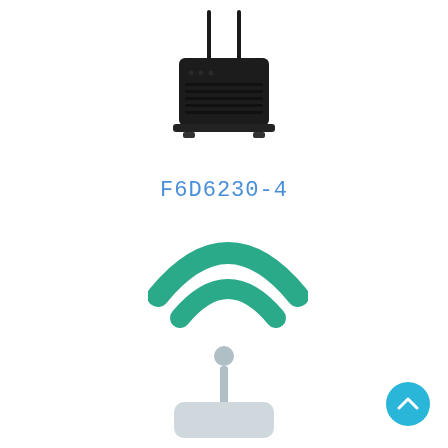[Figure (photo): Black wireless router with two antennas]
F6D6230-4
[Figure (illustration): Green WiFi signal arcs icon above a gray router/device illustration with antenna, representing wireless connectivity]
[Figure (illustration): Blue circular scroll-to-top button with upward chevron arrow]